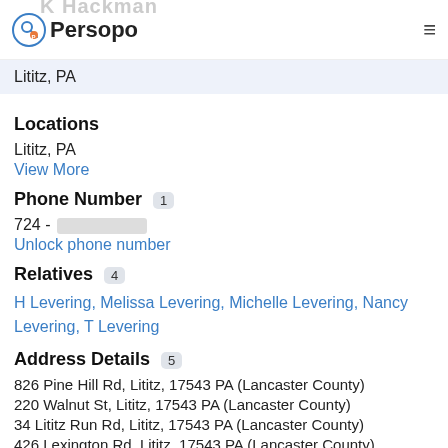K Hackman — Persopo
Lititz, PA
Locations
Lititz, PA
View More
Phone Number 1
724 - [redacted]
Unlock phone number
Relatives 4
H Levering, Melissa Levering, Michelle Levering, Nancy Levering, T Levering
Address Details 5
826 Pine Hill Rd, Lititz, 17543 PA (Lancaster County)
220 Walnut St, Lititz, 17543 PA (Lancaster County)
34 Lititz Run Rd, Lititz, 17543 PA (Lancaster County)
426 Lexington Rd, Lititz, 17543 PA (Lancaster County)